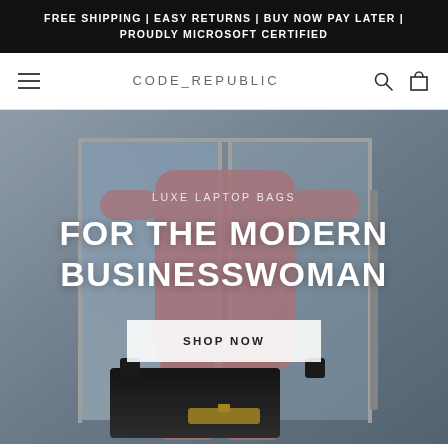FREE SHIPPING | EASY RETURNS | BUY NOW PAY LATER | PROUDLY MICROSOFT CERTIFIED
CODE_REPUBLIC
[Figure (photo): A woman in a pink blazer and trousers holding a black structured laptop bag, standing at glass doors. Overlaid text reads: LUXE LAPTOP BAGS — FOR THE MODERN BUSINESSWOMAN — SHOP NOW button.]
LUXE LAPTOP BAGS
FOR THE MODERN BUSINESSWOMAN
SHOP NOW